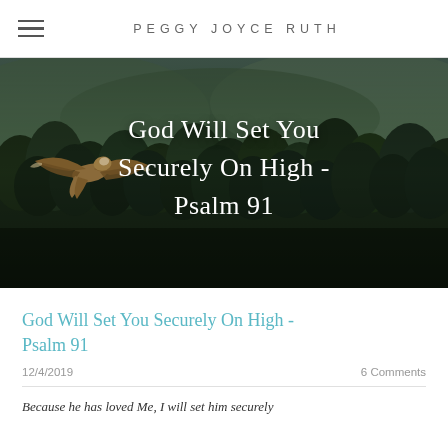PEGGY JOYCE RUTH
[Figure (photo): Hero image of a bird (eagle/hawk) in flight over a dense green mountain forest, with the blog post title overlaid in white text: 'God Will Set You Securely On High - Psalm 91']
God Will Set You Securely On High - Psalm 91
12/4/2019    6 Comments
Because he has loved Me, I will set him securely